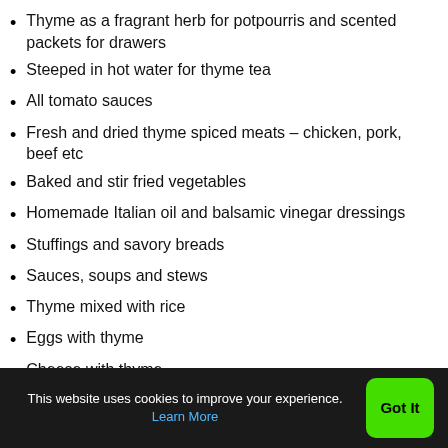Thyme as a fragrant herb for potpourris and scented packets for drawers
Steeped in hot water for thyme tea
All tomato sauces
Fresh and dried thyme spiced meats – chicken, pork, beef etc
Baked and stir fried vegetables
Homemade Italian oil and balsamic vinegar dressings
Stuffings and savory breads
Sauces, soups and stews
Thyme mixed with rice
Eggs with thyme
Cheese with thyme
This website uses cookies to improve your experience. Learn More  Got It